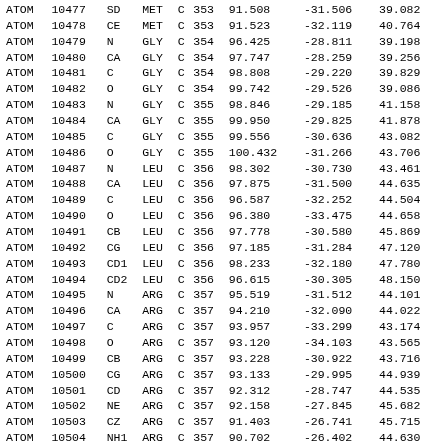| Record | Serial | Name | ResName | Chain | ResSeq | X | Y | Z | ... |
| --- | --- | --- | --- | --- | --- | --- | --- | --- | --- |
| ATOM | 10477 | SD | MET | C | 353 | 91.508 | -31.506 | 39.082 |  |
| ATOM | 10478 | CE | MET | C | 353 | 91.523 | -32.119 | 40.764 |  |
| ATOM | 10479 | N | GLY | C | 354 | 96.425 | -28.811 | 39.198 |  |
| ATOM | 10480 | CA | GLY | C | 354 | 97.747 | -28.259 | 39.256 |  |
| ATOM | 10481 | C | GLY | C | 354 | 98.808 | -29.220 | 39.829 |  |
| ATOM | 10482 | O | GLY | C | 354 | 99.742 | -29.526 | 39.086 |  |
| ATOM | 10483 | N | GLY | C | 355 | 98.846 | -29.185 | 41.158 |  |
| ATOM | 10484 | CA | GLY | C | 355 | 99.950 | -29.825 | 41.878 |  |
| ATOM | 10485 | C | GLY | C | 355 | 99.556 | -30.636 | 43.082 |  |
| ATOM | 10486 | O | GLY | C | 355 | 100.432 | -31.266 | 43.706 |  |
| ATOM | 10487 | N | LEU | C | 356 | 98.302 | -30.730 | 43.461 |  |
| ATOM | 10488 | CA | LEU | C | 356 | 97.875 | -31.500 | 44.635 |  |
| ATOM | 10489 | C | LEU | C | 356 | 96.587 | -32.252 | 44.504 |  |
| ATOM | 10490 | O | LEU | C | 356 | 96.380 | -33.475 | 44.658 |  |
| ATOM | 10491 | CB | LEU | C | 356 | 97.778 | -30.580 | 45.869 |  |
| ATOM | 10492 | CG | LEU | C | 356 | 97.185 | -31.284 | 47.120 |  |
| ATOM | 10493 | CD1 | LEU | C | 356 | 98.233 | -32.180 | 47.780 |  |
| ATOM | 10494 | CD2 | LEU | C | 356 | 96.615 | -30.305 | 48.150 |  |
| ATOM | 10495 | N | ARG | C | 357 | 95.519 | -31.512 | 44.101 |  |
| ATOM | 10496 | CA | ARG | C | 357 | 94.210 | -32.090 | 44.022 |  |
| ATOM | 10497 | C | ARG | C | 357 | 93.957 | -33.299 | 43.174 |  |
| ATOM | 10498 | O | ARG | C | 357 | 93.120 | -34.103 | 43.565 |  |
| ATOM | 10499 | CB | ARG | C | 357 | 93.228 | -30.922 | 43.716 |  |
| ATOM | 10500 | CG | ARG | C | 357 | 93.133 | -29.995 | 44.939 |  |
| ATOM | 10501 | CD | ARG | C | 357 | 92.312 | -28.747 | 44.535 |  |
| ATOM | 10502 | NE | ARG | C | 357 | 92.158 | -27.845 | 45.682 |  |
| ATOM | 10503 | CZ | ARG | C | 357 | 91.403 | -26.741 | 45.715 |  |
| ATOM | 10504 | NH1 | ARG | C | 357 | 90.702 | -26.402 | 44.630 |  |
| ATOM | 10505 | NH2 | ARG | C | 357 | 91.333 | -26.020 | 46.820 |  |
| ATOM | 10506 | N | PRO | C | 358 | 94.640 | -33.515 | 42.031 |  |
| ATOM | 10507 | CA | PRO | C | 358 | ... | ... | ... |  |